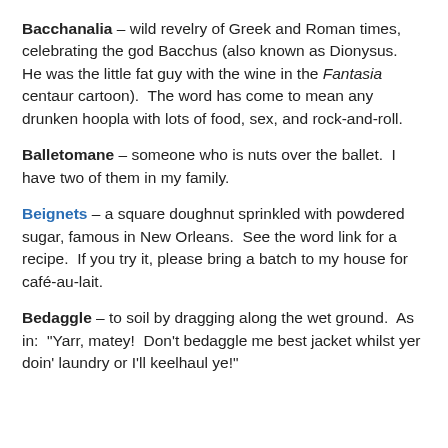Bacchanalia – wild revelry of Greek and Roman times, celebrating the god Bacchus (also known as Dionysus.  He was the little fat guy with the wine in the Fantasia centaur cartoon).  The word has come to mean any drunken hoopla with lots of food, sex, and rock-and-roll.
Balletomane – someone who is nuts over the ballet.  I have two of them in my family.
Beignets – a square doughnut sprinkled with powdered sugar, famous in New Orleans.  See the word link for a recipe.  If you try it, please bring a batch to my house for café-au-lait.
Bedaggle – to soil by dragging along the wet ground.  As in:  "Yarr, matey!  Don't bedaggle me best jacket whilst yer doin' laundry or I'll keelhaul ye!"